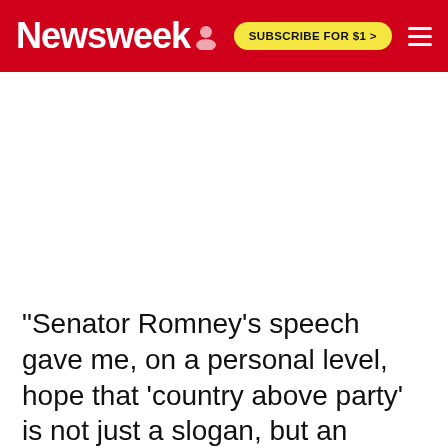Newsweek | SUBSCRIBE FOR $1 >
[Figure (other): Advertisement/empty white space area below header]
"Senator Romney's speech gave me, on a personal level, hope that 'country above party' is not just a slogan, but an imperative." Sen